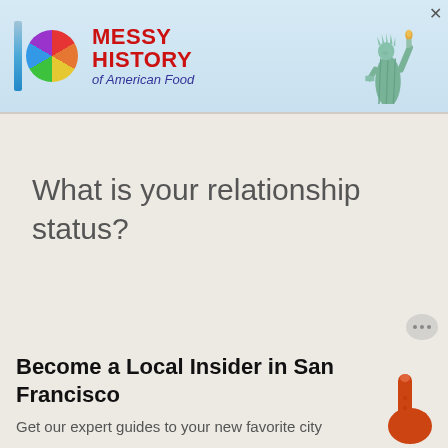[Figure (screenshot): Advertisement banner: colorful spectrum bar logo, circular rainbow disc, red bold text 'MESSY HISTORY of American Food', Statue of Liberty image on right, close button X top right, light blue gradient background]
What is your relationship status?
[Figure (illustration): Small grey chat/ellipsis bubble icon on right side]
Become a Local Insider in San Francisco
Get our expert guides to your new favorite city
[Figure (illustration): Orange cartoon pointing finger hand icon, bottom right]